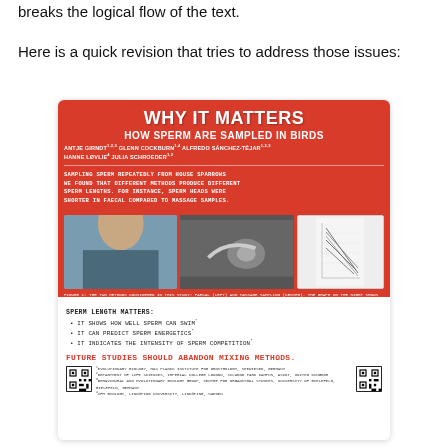breaks the logical flow of the text.
Here is a quick revision that tries to address those issues:
[Figure (infographic): A scientific poster titled 'WHY IT MATTERS: HOW SPERM ARE SAMPLED IN BIRDS' with a red background on the upper portion. Authors listed include Antje Girndt, Glenn Cockburn, Alfredo Sanchez-Tojar, Hanne Lovlie, Julia Schroeder. The poster describes sampling sperm from house sparrows and finding different methods produce different sperm lengths. Contains photos of researchers and birds, a graph showing sperm measurements, a white lower section with bullet points about sperm length mattering, a red statement about future studies abandoning mixed methods, QR codes, and institutional affiliations.]